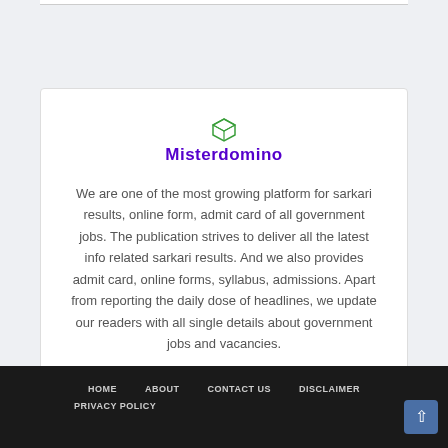[Figure (logo): Misterdomino logo with green cube icon and bold purple text]
We are one of the most growing platform for sarkari results, online form, admit card of all government jobs. The publication strives to deliver all the latest info related sarkari results. And we also provides admit card, online forms, syllabus, admissions. Apart from reporting the daily dose of headlines, we update our readers with all single details about government jobs and vacancies.
HOME   ABOUT   CONTACT US   DISCLAIMER   PRIVACY POLICY